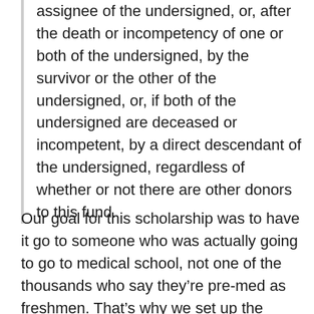assignee of the undersigned, or, after the death or incompetency of one or both of the undersigned, by the survivor or the other of the undersigned, or, if both of the undersigned are deceased or incompetent, by a direct descendant of the undersigned, regardless of whether or not there are other donors to this fund.
Our goal for this scholarship was to have it go to someone who was actually going to go to medical school, not one of the thousands who say they’re pre-med as freshmen. That’s why we set up the requirement to be an upperclassman with a decent science GPA. Since there is no pre-med major, we decided to leave it up to the pre-med advisors (who make up most of the committee anyway) to determine